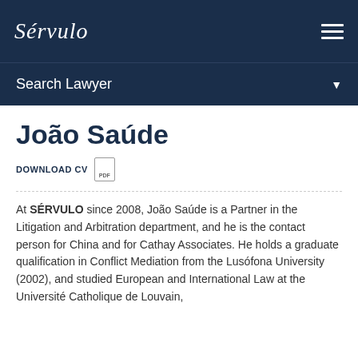Sérvulo logo and navigation
Search Lawyer
João Saúde
DOWNLOAD CV
At SÉRVULO since 2008, João Saúde is a Partner in the Litigation and Arbitration department, and he is the contact person for China and for Cathay Associates. He holds a graduate qualification in Conflict Mediation from the Lusófona University (2002), and studied European and International Law at the Université Catholique de Louvain, between 1995 and 1998. He also has an Arbitration at the